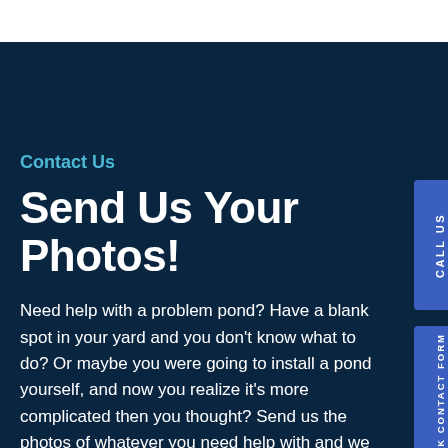Contact Us
Send Us Your Photos!
Need help with a problem pond? Have a blank spot in your yard and you don't know what to do? Or maybe you were going to install a pond yourself, and now you realize it's more complicated then you thought? Send us the photos of whatever you need help with and we will be happy to help!